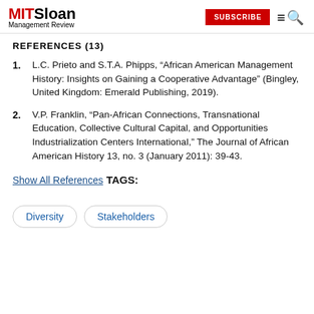MIT Sloan Management Review | SUBSCRIBE
REFERENCES (13)
1. L.C. Prieto and S.T.A. Phipps, “African American Management History: Insights on Gaining a Cooperative Advantage” (Bingley, United Kingdom: Emerald Publishing, 2019).
2. V.P. Franklin, “Pan-African Connections, Transnational Education, Collective Cultural Capital, and Opportunities Industrialization Centers International,” The Journal of African American History 13, no. 3 (January 2011): 39-43.
Show All References
TAGS:
Diversity
Stakeholders